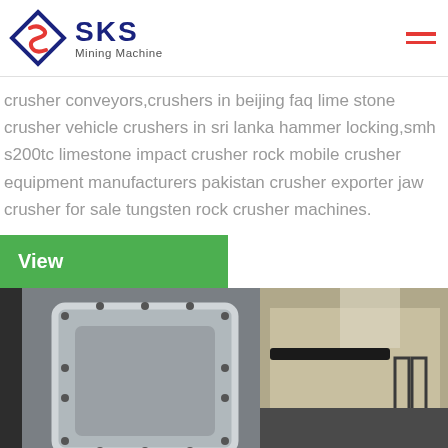SKS Mining Machine
crusher conveyors,crushers in beijing faq lime stone crusher vehicle crushers in sri lanka hammer locking,smh s200tc limestone impact crusher rock mobile crusher equipment manufacturers pakistan crusher exporter jaw crusher for sale tungsten rock crusher machines.
View
[Figure (photo): Two-part photograph showing industrial mining crusher machinery — left side shows a grey metal crusher jaw opening with bolted frame, right side shows mechanical components including springs and body of crusher equipment.]